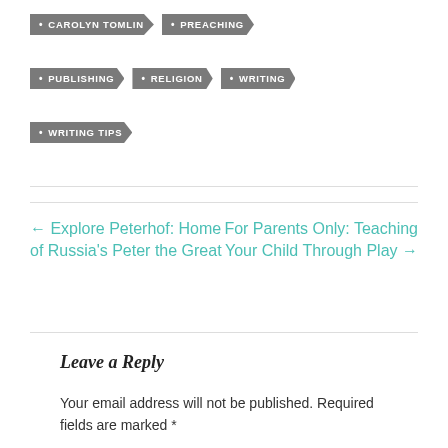• CAROLYN TOMLIN
• PREACHING
• PUBLISHING
• RELIGION
• WRITING
• WRITING TIPS
← Explore Peterhof: Home of Russia's Peter the Great
For Parents Only: Teaching Your Child Through Play →
Leave a Reply
Your email address will not be published. Required fields are marked *